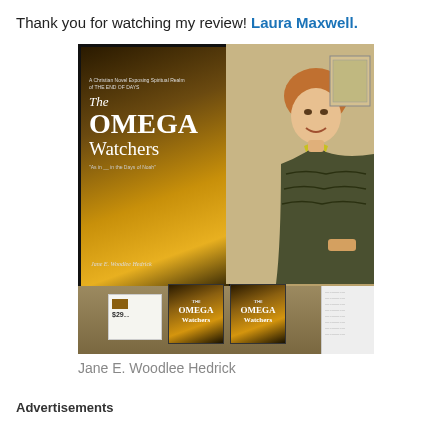Thank you for watching my review! Laura Maxwell.
[Figure (photo): Woman standing next to a large framed display of 'The Omega Watchers' book by Jane E. Woodlee Hedrick, with smaller copies of the book on a table in front]
Jane E. Woodlee Hedrick
Advertisements